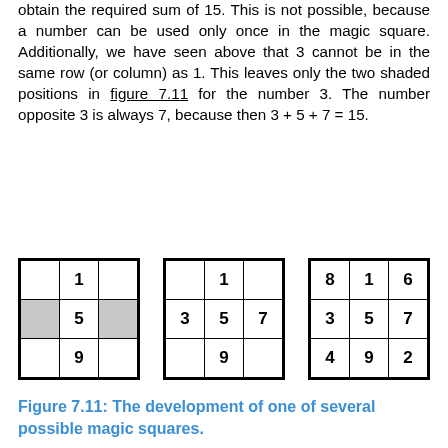obtain the required sum of 15. This is not possible, because a number can be used only once in the magic square. Additionally, we have seen above that 3 cannot be in the same row (or column) as 1. This leaves only the two shaded positions in figure 7.11 for the number 3. The number opposite 3 is always 7, because then 3 + 5 + 7 = 15.
[Figure (other): Three 3x3 magic square grids showing development. Grid 1: center column has 1,5,9; left middle cell shaded. Grid 2: center column has 1,5,9; middle row has 3,5,7. Grid 3: completed magic square with 8,1,6 / 3,5,7 / 4,9,2.]
Figure 7.11: The development of one of several possible magic squares.